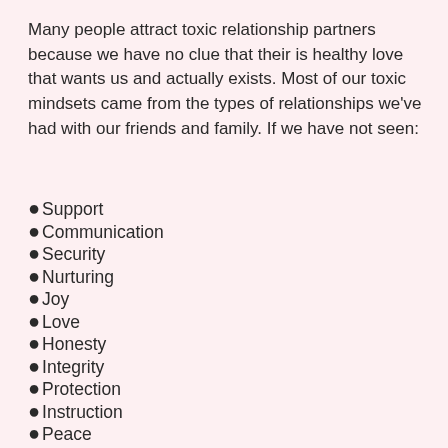Many people attract toxic relationship partners because we have no clue that their is healthy love that wants us and actually exists. Most of our toxic mindsets came from the types of relationships we've had with our friends and family. If we have not seen:
Support
Communication
Security
Nurturing
Joy
Love
Honesty
Integrity
Protection
Instruction
Peace
Affection
Laughter